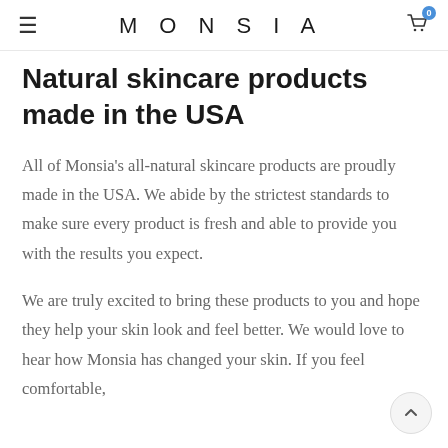≡  MONSIA  🛒0
Natural skincare products made in the USA
All of Monsia's all-natural skincare products are proudly made in the USA. We abide by the strictest standards to make sure every product is fresh and able to provide you with the results you expect.
We are truly excited to bring these products to you and hope they help your skin look and feel better. We would love to hear how Monsia has changed your skin. If you feel comfortable,